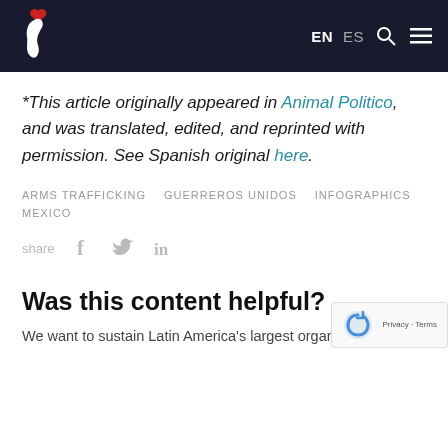EN  ES
*This article originally appeared in Animal Politico, and was translated, edited, and reprinted with permission. See Spanish original here.
ARMS TRAFFICKING   GUERREROS UNIDOS   INFOGRAPHICS   MEXICO
share
Was this content helpful?
We want to sustain Latin America's largest organiz…